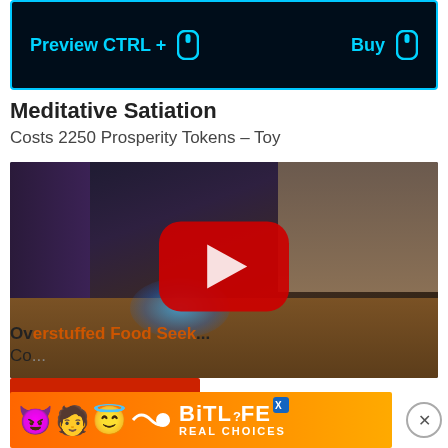[Figure (screenshot): Game UI bar with 'Preview CTRL +' and 'Buy' labels with mouse icons on dark background with cyan border]
Meditative Satiation
Costs 2250 Prosperity Tokens – Toy
[Figure (screenshot): YouTube video thumbnail showing a dark game scene with a glowing blue effect on the floor and a YouTube play button overlay]
Watch Video
Ov...ffed Food Seek...
Co...
[Figure (screenshot): BitLife advertisement banner with emojis and 'REAL CHOICES' text]